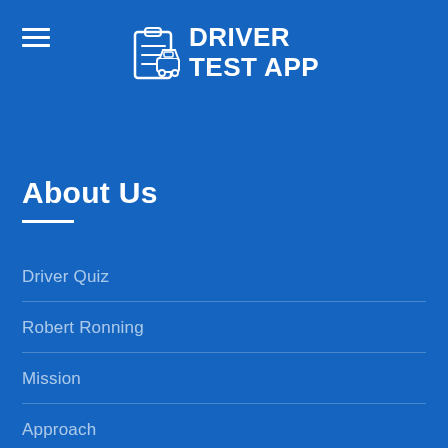DRIVER TEST APP
About Us
Driver Quiz
Robert Ronning
Mission
Approach
Team